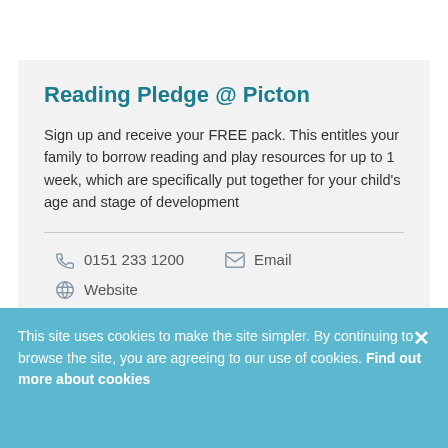Reading Pledge @ Picton
Sign up and receive your FREE pack. This entitles your family to borrow reading and play resources for up to 1 week, which are specifically put together for your child's age and stage of development
0151 233 1200
Email
Website
This site uses cookies to make the site simpler. By continuing to browse the site, you are agreeing to our use of cookies. Find out more about cookies